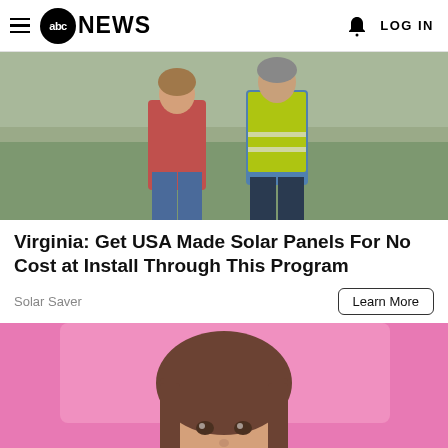abc NEWS   LOG IN
[Figure (photo): Two people standing outdoors on grass — one in a red hoodie and jeans, one in a yellow safety vest and dark pants]
Virginia: Get USA Made Solar Panels For No Cost at Install Through This Program
Solar Saver
[Figure (photo): Close-up of a young woman with bangs and dark hair against a bright pink background, holding a small yellow sticky note]